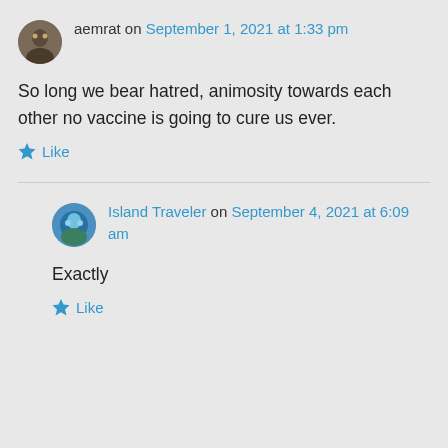aemrat on September 1, 2021 at 1:33 pm
So long we bear hatred, animosity towards each other no vaccine is going to cure us ever.
Like
Island Traveler on September 4, 2021 at 6:09 am
Exactly
Like